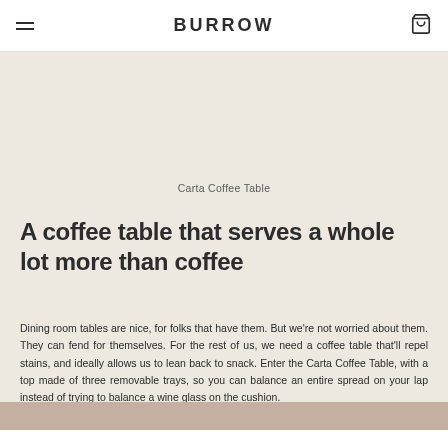BURROW
Carta Coffee Table
A coffee table that serves a whole lot more than coffee
Dining room tables are nice, for folks that have them. But we're not worried about them. They can fend for themselves. For the rest of us, we need a coffee table that'll repel stains, and ideally allows us to lean back to snack. Enter the Carta Coffee Table, with a top made of three removable trays, so you can balance an entire spread on your lap instead of trying to balance a wine glass on the cushion.